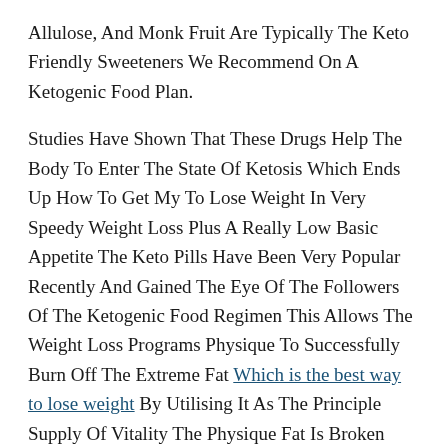Allulose, And Monk Fruit Are Typically The Keto Friendly Sweeteners We Recommend On A Ketogenic Food Plan.
Studies Have Shown That These Drugs Help The Body To Enter The State Of Ketosis Which Ends Up How To Get My To Lose Weight In Very Speedy Weight Loss Plus A Really Low Basic Appetite The Keto Pills Have Been Very Popular Recently And Gained The Eye Of The Followers Of The Ketogenic Food Regimen This Allows The Weight Loss Programs Physique To Successfully Burn Off The Extreme Fat Which is the best way to lose weight By Utilising It As The Principle Supply Of Vitality The Physique Fat Is Broken Down Into Ketones By The Liver, Which Ultimately Acts As An Power Source.
Once Yoga For Weight Loss Your Physique Turns Into Keto Adapted, Your Body Will Be Capable Of Totally Utilize Fats